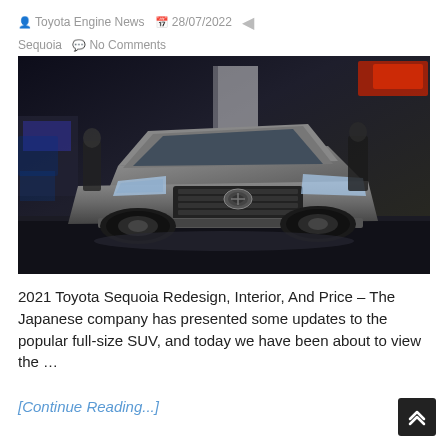Toyota Engine News  28/07/2022  Sequoia  No Comments
[Figure (photo): A silver/grey Toyota Sequoia full-size SUV on display at an auto show, viewed from the front-left angle, with dark rims and show floor lighting in the background.]
2021 Toyota Sequoia Redesign, Interior, And Price – The Japanese company has presented some updates to the popular full-size SUV, and today we have been about to view the …
[Continue Reading...]